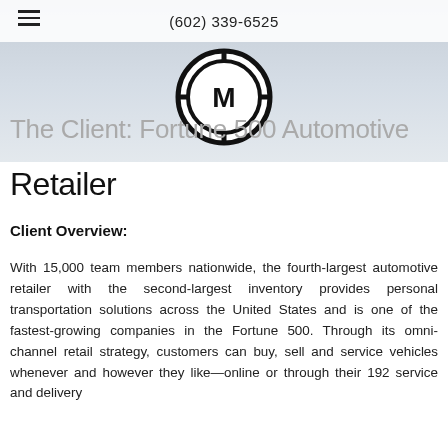(602) 339-6525
[Figure (logo): Circular logo with M letter in center crosshair design, black and white]
The Client: Fortune 500 Automotive Retailer
Client Overview:
With 15,000 team members nationwide, the fourth-largest automotive retailer with the second-largest inventory provides personal transportation solutions across the United States and is one of the fastest-growing companies in the Fortune 500. Through its omni-channel retail strategy, customers can buy, sell and service vehicles whenever and however they like—online or through their 192 service and delivery